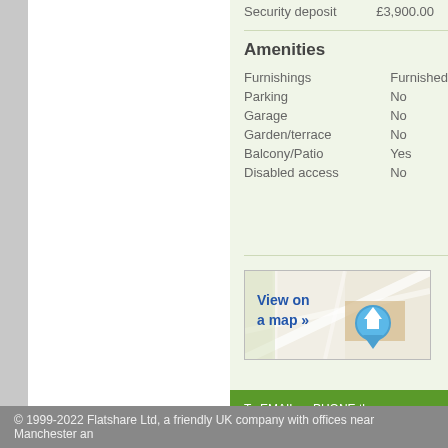Security deposit    £3,900.00
Amenities
|  |  |
| --- | --- |
| Furnishings | Furnished |
| Parking | No |
| Garage | No |
| Garden/terrace | No |
| Balcony/Patio | Yes |
| Disabled access | No |
[Figure (map): View on a map link with map thumbnail showing street map and blue home location pin marker]
To EMAIL or PHONE the advertiser, please scro entitled "Contact the advertiser". You can call or
© 1999-2022 Flatshare Ltd, a friendly UK company with offices near Manchester an